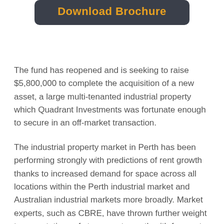[Figure (other): Dark rounded button with orange bold text reading 'Download Brochure']
The fund has reopened and is seeking to raise $5,800,000 to complete the acquisition of a new asset, a large multi-tenanted industrial property which Quadrant Investments was fortunate enough to secure in an off-market transaction.
The industrial property market in Perth has been performing strongly with predictions of rent growth thanks to increased demand for space across all locations within the Perth industrial market and Australian industrial markets more broadly. Market experts, such as CBRE, have thrown further weight to expectations of strong rent growth with forecast new supply in 2021 and 2022 tipped to be well below 10-year average construction levels.